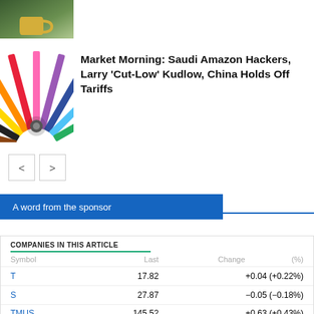[Figure (photo): Small thumbnail photo of a cup/mug in a green outdoor setting]
[Figure (photo): Colorful pencils arranged in a fan/radial pattern on white background]
Market Morning: Saudi Amazon Hackers, Larry ‘Cut-Low’ Kudlow, China Holds Off Tariffs
< >
A word from the sponsor
| Symbol | Last | Change | (%) |
| --- | --- | --- | --- |
| T | 17.82 | +0.04 (+0.22%) |  |
| S | 27.87 | –0.05 (–0.18%) |  |
| TMUS | 145.52 | +0.63 (+0.43%) |  |